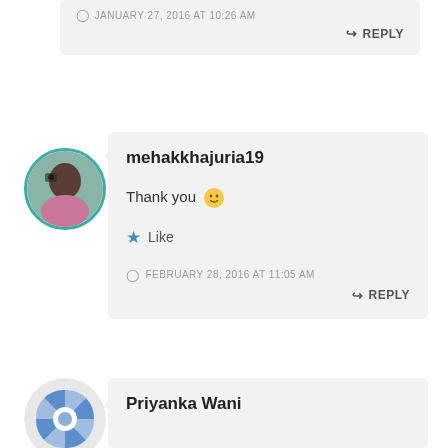JANUARY 27, 2016 AT 10:26 AM
REPLY
mehakkhajuria19
Thank you 🙂
Like
FEBRUARY 28, 2016 AT 11:05 AM
REPLY
Priyanka Wani